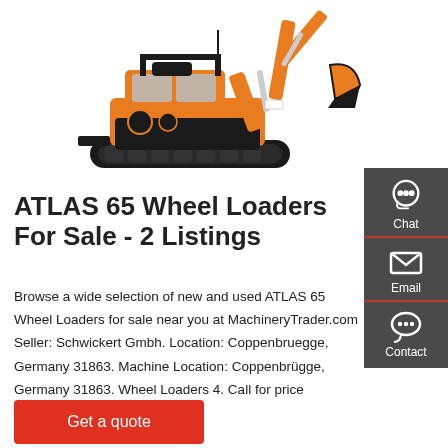[Figure (photo): Orange and black mini excavator/compact tracked machine on white background, with boom arm and bucket extended upward to the right.]
ATLAS 65 Wheel Loaders For Sale - 2 Listings
Browse a wide selection of new and used ATLAS 65 Wheel Loaders for sale near you at MachineryTrader.com Seller: Schwickert Gmbh. Location: Coppenbruegge, Germany 31863. Machine Location: Coppenbrügge, Germany 31863. Wheel Loaders 4. Call for price
[Figure (infographic): Dark grey sidebar panel on the right with three icons and labels: Chat (headset icon), Email (envelope icon), Contact (speech bubble icon), separated by red horizontal lines.]
Get a quote